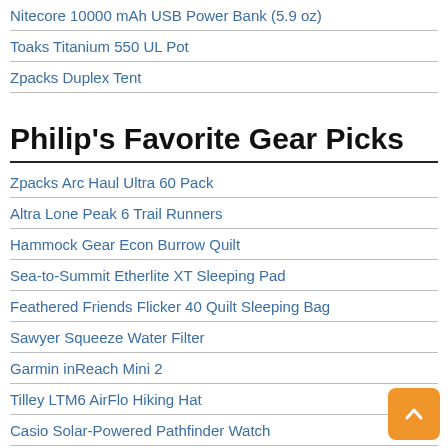Nitecore 10000 mAh USB Power Bank (5.9 oz)
Toaks Titanium 550 UL Pot
Zpacks Duplex Tent
Philip's Favorite Gear Picks
Zpacks Arc Haul Ultra 60 Pack
Altra Lone Peak 6 Trail Runners
Hammock Gear Econ Burrow Quilt
Sea-to-Summit Etherlite XT Sleeping Pad
Feathered Friends Flicker 40 Quilt Sleeping Bag
Sawyer Squeeze Water Filter
Garmin inReach Mini 2
Tilley LTM6 AirFlo Hiking Hat
Casio Solar-Powered Pathfinder Watch